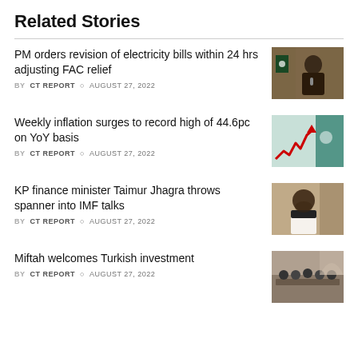Related Stories
PM orders revision of electricity bills within 24 hrs adjusting FAC relief
BY CT REPORT  AUGUST 27, 2022
[Figure (photo): Photo of PM speaking at a podium with Pakistan flag in background]
Weekly inflation surges to record high of 44.6pc on YoY basis
BY CT REPORT  AUGUST 27, 2022
[Figure (photo): Inflation chart graphic showing red upward trending arrow with teal Pakistan flag]
KP finance minister Taimur Jhagra throws spanner into IMF talks
BY CT REPORT  AUGUST 27, 2022
[Figure (photo): Photo of KP finance minister Taimur Jhagra]
Miftah welcomes Turkish investment
BY CT REPORT  AUGUST 27, 2022
[Figure (photo): Photo of meeting room with officials around a conference table]